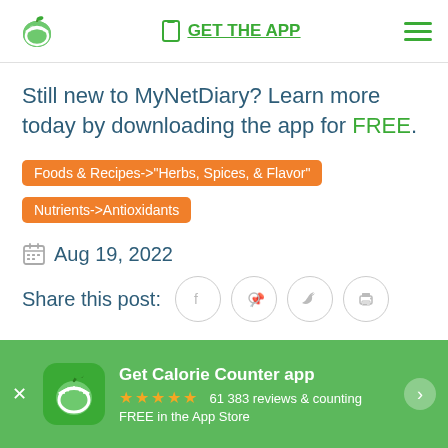GET THE APP
Still new to MyNetDiary? Learn more today by downloading the app for FREE.
Foods & Recipes->"Herbs, Spices, & Flavor"
Nutrients->Antioxidants
Aug 19, 2022
Share this post:
Get Calorie Counter app ★★★★★ 61 383 reviews & counting FREE in the App Store